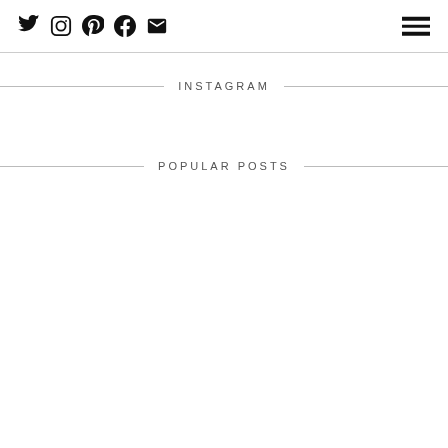Social media icons: Twitter, Instagram, Pinterest, Facebook, Email | Hamburger menu
INSTAGRAM
POPULAR POSTS